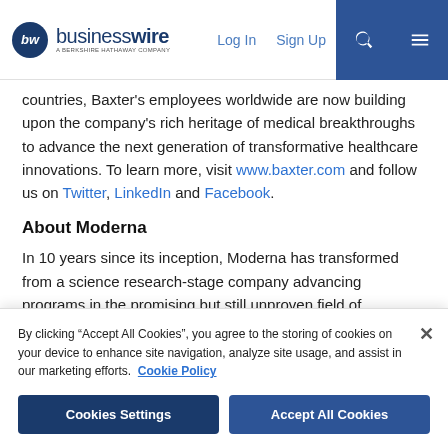businesswire - A BERKSHIRE HATHAWAY COMPANY | Log In | Sign Up
countries, Baxter's employees worldwide are now building upon the company's rich heritage of medical breakthroughs to advance the next generation of transformative healthcare innovations. To learn more, visit www.baxter.com and follow us on Twitter, LinkedIn and Facebook.
About Moderna
In 10 years since its inception, Moderna has transformed from a science research-stage company advancing programs in the promising but still unproven field of messenger RNA (mRNA) t
By clicking “Accept All Cookies”, you agree to the storing of cookies on your device to enhance site navigation, analyze site usage, and assist in our marketing efforts. Cookie Policy
Cookies Settings
Accept All Cookies